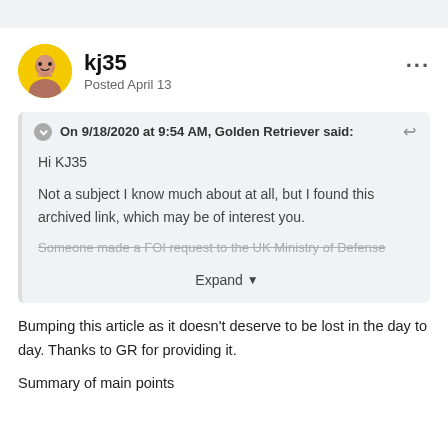kj35
Posted April 13
On 9/18/2020 at 9:54 AM, Golden Retriever said:
Hi KJ35

Not a subject I know much about at all, but I found this archived link, which may be of interest you.

Someone made a FOI request to the UK Ministry of Defense
Expand
Bumping this article as it doesn't deserve to be lost in the day to day. Thanks to GR for providing it.
Summary of main points